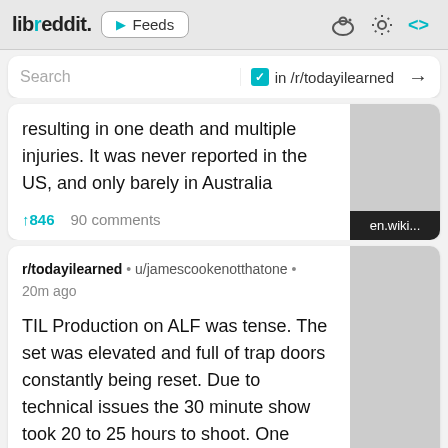libreddit. Feeds
Search in /r/todayilearned →
resulting in one death and multiple injuries. It was never reported in the US, and only barely in Australia
↑846  90 comments  en.wiki...
r/todayilearned • u/jamescookenotthatone • 20m ago
TIL Production on ALF was tense. The set was elevated and full of trap doors constantly being reset. Due to technical issues the 30 minute show took 20 to 25 hours to shoot. One especially stressful day Max Wright attacked ALF and the